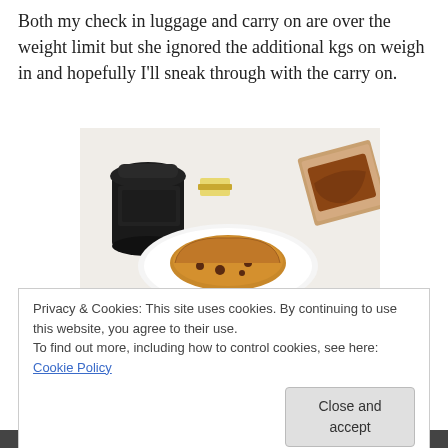Both my check in luggage and carry on are over the weight limit but she ignored the additional kgs on weigh in and hopefully I'll sneak through with the carry on.
[Figure (photo): Photo of a food scene on a white table: a black Starbucks-style coffee cup on the left, a small butter packet in the center, a slice of toasted fruit bread on a white plate in the foreground, and a pastry in brown paper wrapping at the top right.]
Privacy & Cookies: This site uses cookies. By continuing to use this website, you agree to their use.
To find out more, including how to control cookies, see here: Cookie Policy
Close and accept